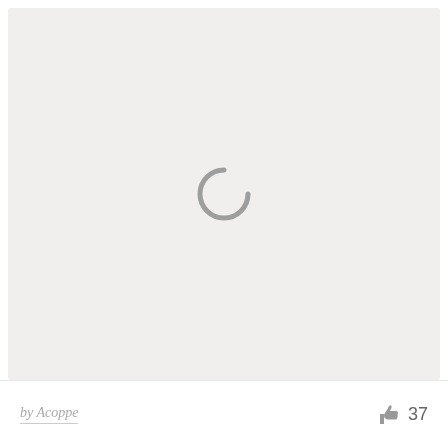[Figure (other): Loading spinner icon — a partial circle arc in gray on a light gray background, indicating content is loading.]
by Acoppe   👍 37